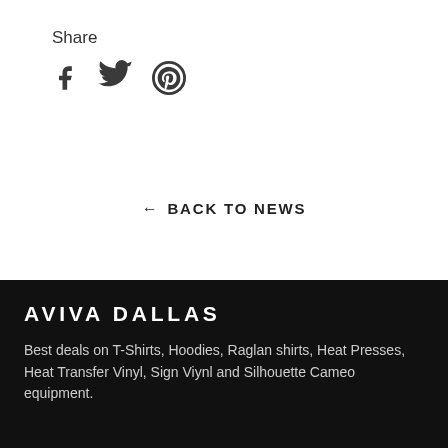Share
[Figure (other): Social sharing icons: Facebook (f), Twitter (bird), Pinterest (P circle)]
← BACK TO NEWS
AVIVA DALLAS
Best deals on T-Shirts, Hoodies, Raglan shirts, Heat Presses, Heat Transfer Vinyl, Sign Viynl and Silhouette Cameo equipment.